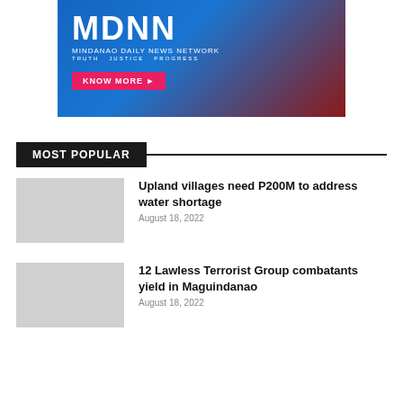[Figure (logo): MDNN - Mindanao Daily News Network banner ad with blue and dark red background, white MDNN logo text, subtitle 'MINDANAO DAILY NEWS NETWORK', tagline 'TRUTH JUSTICE PROGRESS', and a pink 'KNOW MORE ►' button]
MOST POPULAR
Upland villages need P200M to address water shortage
August 18, 2022
12 Lawless Terrorist Group combatants yield in Maguindanao
August 18, 2022